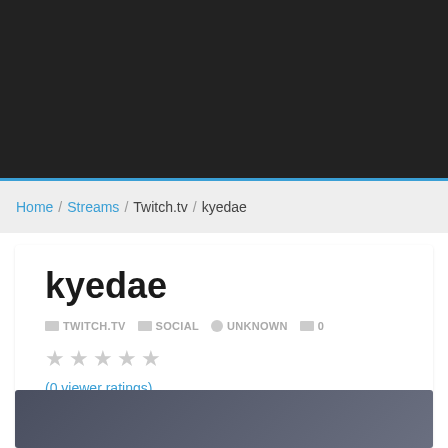[Figure (screenshot): Dark header area at top of webpage]
Home / Streams / Twitch.tv / kyedae
kyedae
TWITCH.TV  SOCIAL  UNKNOWN  0
★★★★★ (0 viewer ratings)
[Figure (screenshot): Dark gray preview image area]